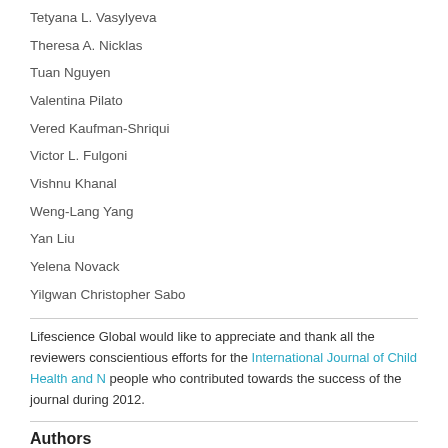Tetyana L. Vasylyeva
Theresa A. Nicklas
Tuan Nguyen
Valentina Pilato
Vered Kaufman-Shriqui
Victor L. Fulgoni
Vishnu Khanal
Weng-Lang Yang
Yan Liu
Yelena Novack
Yilgwan Christopher Sabo
Lifescience Global would like to appreciate and thank all the reviewers conscientious efforts for the International Journal of Child Health and N people who contributed towards the success of the journal during 2012.
Authors